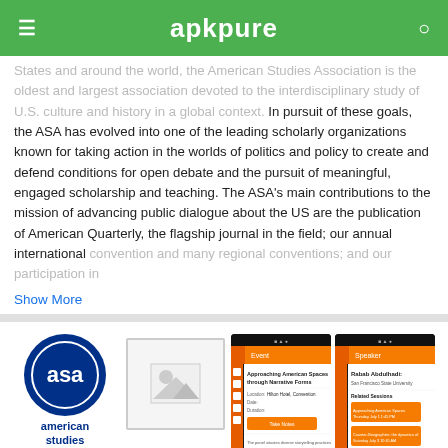apkpure
States and around the world, the American Studies Association is the oldest and largest association devoted to the interdisciplinary study of U.S. culture and history in a global context. In pursuit of these goals, the ASA has evolved into one of the leading scholarly organizations known for taking action in the worlds of politics and policy to create and defend conditions for open debate and the pursuit of meaningful, engaged scholarship and teaching. The ASA's main contributions to the mission of advancing public dialogue about the US are the publication of American Quarterly, the flagship journal in the field; our annual international convention and many regional conventions; and our participation in
Show More
[Figure (logo): American Studies Association circular blue logo with 'asa' letters and text 'american studies association' below]
[Figure (photo): Image placeholder with mountain/landscape icon]
[Figure (screenshot): Two mobile app screenshots showing the ASA app interface with session details and speaker information]